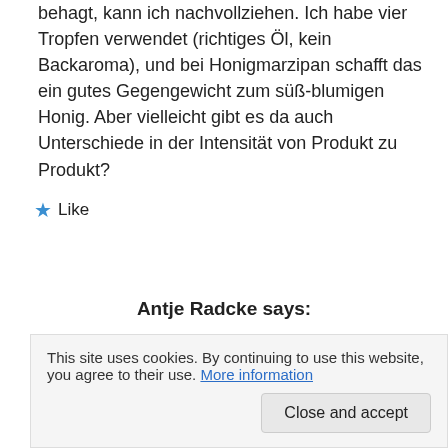behagt, kann ich nachvollziehen. Ich habe vier Tropfen verwendet (richtiges Öl, kein Backaroma), und bei Honigmarzipan schafft das ein gutes Gegengewicht zum süß-blumigen Honig. Aber vielleicht gibt es da auch Unterschiede in der Intensität von Produkt zu Produkt?
★ Like
Antje Radcke says:
Herzlichen Dank für deine wertvolle Antwort. Weil ich mir sehr sicher war, dass du kein künstliches Aroma verwendest, habe ich auch so genau nachgefragt 😉 Und jetzt weiß ich auch, warum ich Honig-Marzipan nicht so gern mag: Weil es nicht genug nach Bittermandel schmeckt. Dass man das
This site uses cookies. By continuing to use this website, you agree to their use. More information
Close and accept